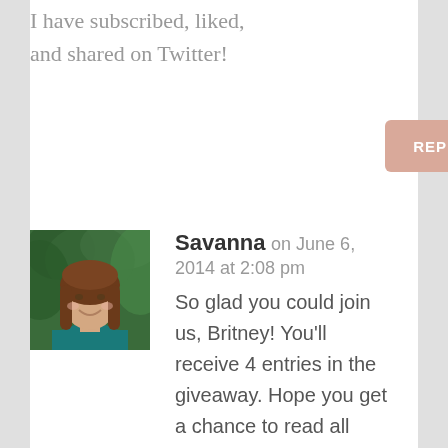I have subscribed, liked, and shared on Twitter!
REPLY
Savanna on June 6, 2014 at 2:08 pm
[Figure (photo): Profile photo of Savanna, a woman with long brown hair wearing a teal top, smiling outdoors]
So glad you could join us, Britney! You'll receive 4 entries in the giveaway. Hope you get a chance to read all these great books